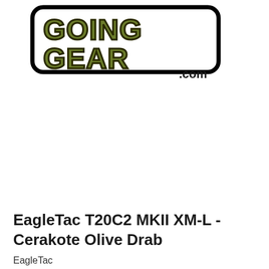[Figure (logo): GoingGear.com logo — bold black outlined rounded rectangle border with olive/yellow-green bold block lettering 'GOING GEAR' and '.com' in black below-right]
EagleTac T20C2 MKII XM-L - Cerakote Olive Drab
EagleTac